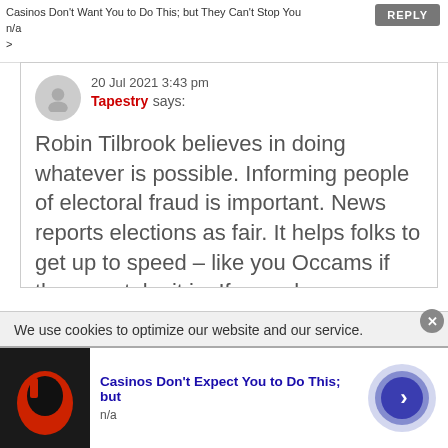Casinos Don't Want You to Do This; but They Can't Stop You
n/a
>
20 Jul 2021 3:43 pm
Tapestry says:
Robin Tilbrook believes in doing whatever is possible. Informing people of electoral fraud is important. News reports elections as fair. It helps folks to get up to speed – like you Occams if they can take it in. If we ask
We use cookies to optimize our website and our service.
Casinos Don't Expect You to Do This; but
n/a